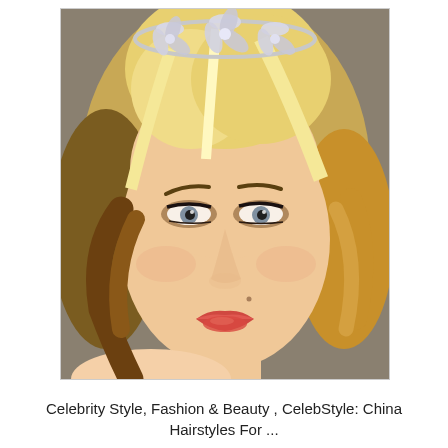[Figure (photo): Close-up portrait of a young woman with short, curly blonde hair highlighted with lighter streaks, wearing a jeweled/crystal floral headband. She has smoky eye makeup with grey-blue eyes, coral-red lips, and bare shoulders. The background is grey/taupe. The photo is styled as a glamour or beauty shot.]
Celebrity Style, Fashion & Beauty , CelebStyle: China Hairstyles For ...